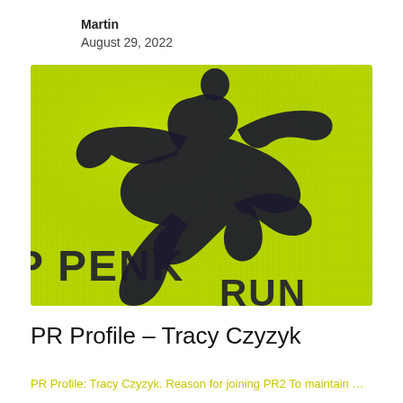Martin
August 29, 2022
[Figure (photo): Close-up of a bright neon yellow-green athletic/running jersey fabric with a black silhouette of a running person and text reading 'PENK RUN' partially visible]
PR Profile – Tracy Czyzyk
PR Profile: Tracy Czyzyk. Reason for joining PR2 To maintain my...